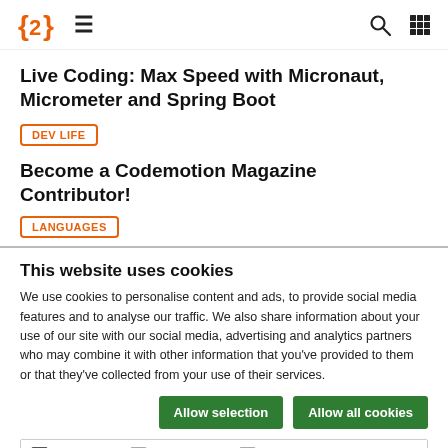Codemotion website navigation bar with logo, hamburger menu, search and grid icons
Live Coding: Max Speed with Micronaut, Micrometer and Spring Boot
DEV LIFE
Become a Codemotion Magazine Contributor!
LANGUAGES
This website uses cookies
We use cookies to personalise content and ads, to provide social media features and to analyse our traffic. We also share information about your use of our site with our social media, advertising and analytics partners who may combine it with other information that you've provided to them or that they've collected from your use of their services.
Allow selection | Allow all cookies
Necessary | Preferences | Statistics | Marketing | Show details